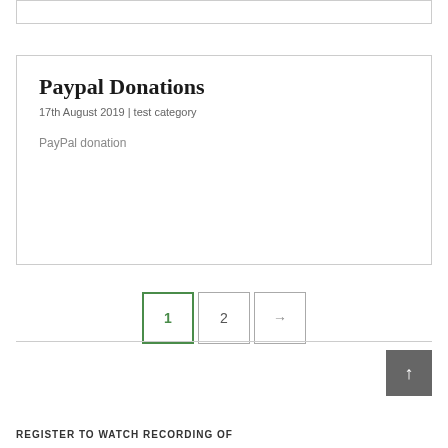Paypal Donations
17th August 2019 | test category
PayPal donation
1  2  →
REGISTER TO WATCH RECORDING OF